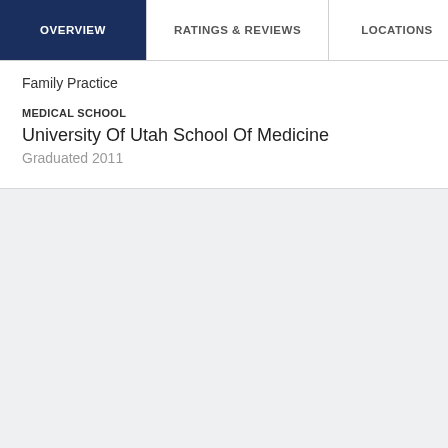OVERVIEW | RATINGS & REVIEWS | LOCATIONS | EX
Family Practice
MEDICAL SCHOOL
University Of Utah School Of Medicine
Graduated 2011